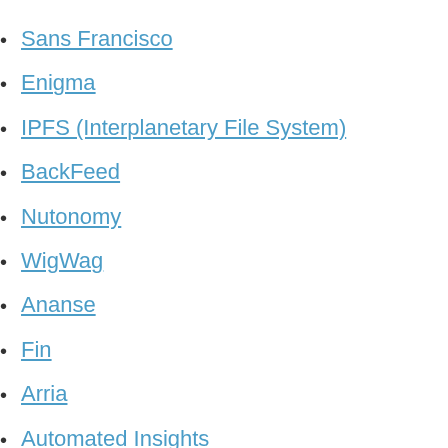Sans Francisco
Enigma
IPFS (Interplanetary File System)
BackFeed
Nutonomy
WigWag
Ananse
Fin
Arria
Automated Insights
Infer